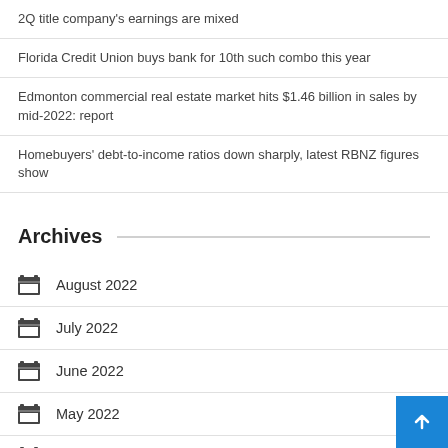2Q title company's earnings are mixed
Florida Credit Union buys bank for 10th such combo this year
Edmonton commercial real estate market hits $1.46 billion in sales by mid-2022: report
Homebuyers' debt-to-income ratios down sharply, latest RBNZ figures show
Archives
August 2022
July 2022
June 2022
May 2022
April 2022
March 2022